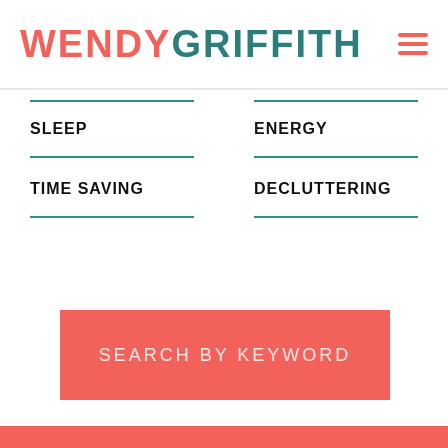WENDYGRIFFITH
SLEEP
ENERGY
TIME SAVING
DECLUTTERING
SEARCH BY KEYWORD